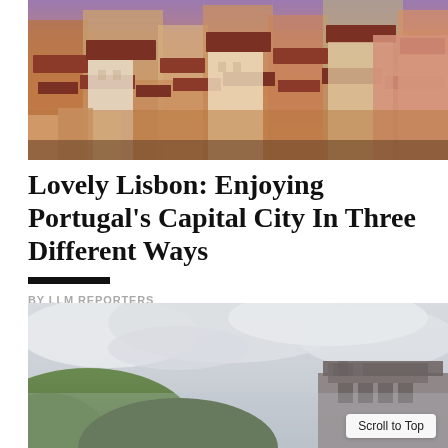[Figure (photo): Aerial view of Lisbon cityscape at sunset with red-tiled rooftops, colorful buildings in warm orange and pink hues against a dusky sky]
Lovely Lisbon: Enjoying Portugal's Capital City In Three Different Ways
BY LLM REPORTERS
[Figure (photo): A misty landscape showing green hills and modern building rooftops under a cloudy grey-white sky]